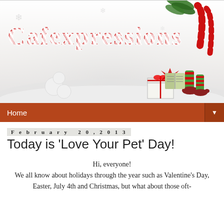[Figure (illustration): Christmas/holiday themed blog banner for 'Cafexpressions' with candy cane styled red text logo, snow scene with snowballs, gift boxes, candy canes, elf boots, pine branches, and snowflake background]
Home ▼
February 20, 2013
Today is 'Love Your Pet' Day!
Hi, everyone!
We all know about holidays through the year such as Valentine's Day, Easter, July 4th and Christmas, but what about those oft-